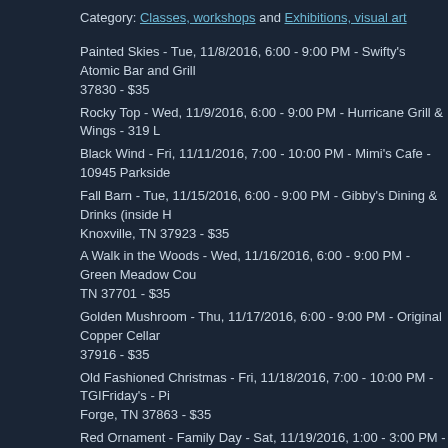Category: Classes, workshops and Exhibitions, visual art
Painted Skies - Tue, 11/8/2016, 6:00 - 9:00 PM - Swifty's Atomic Bar and Grill 37830 - $35
Rocky Top - Wed, 11/9/2016, 6:00 - 9:00 PM - Hurricane Grill & Wings - 319 L
Black Wind - Fri, 11/11/2016, 7:00 - 10:00 PM - Mimi's Cafe - 10945 Parkside
Fall Barn - Tue, 11/15/2016, 6:00 - 9:00 PM - Gibby's Dining & Drinks (inside H Knoxville, TN 37923 - $35
A Walk in the Woods - Wed, 11/16/2016, 6:00 - 9:00 PM - Green Meadow Cou TN 37701 - $35
Golden Mushroom - Thu, 11/17/2016, 6:00 - 9:00 PM - Original Copper Cellar 37916 - $35
Old Fashioned Christmas - Fri, 11/18/2016, 7:00 - 10:00 PM - TGIFriday's - Pi Forge, TN 37863 - $35
Red Ornament - Family Day - Sat, 11/19/2016, 1:00 - 3:00 PM - Flapjack's Par Powell, TN 37849 - $20
First Snow - Give from the Heart Fundraiser - Mon, 11/28/2016, 6:00 - 9:00 PM Maryville, TN 37801 - $35
$35 per session (unless otherwise noted). Wine & Canvas: Knoxville, TN, 865-
http://www.wineandcanvas.com/knoxville-tn.html